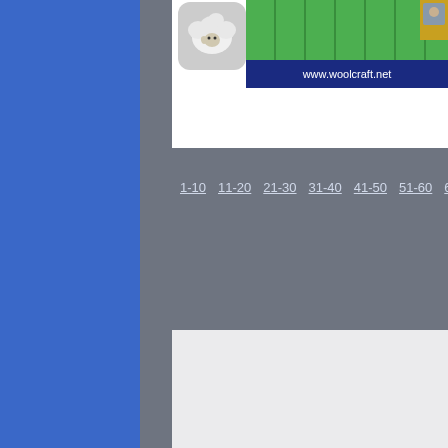[Figure (screenshot): Partial screenshot of woolcraft.net website showing a sheep icon, green game grid, and dark blue bar with URL www.woolcraft.net]
1-10  11-20  21-30  31-40  41-50  51-60  61-70  7...